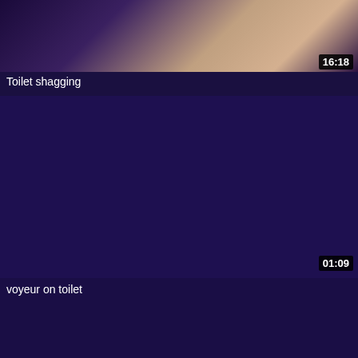[Figure (screenshot): Video thumbnail showing partial view of people, dark toned image]
16:18
Toilet shagging
[Figure (screenshot): Dark purple/navy blank video thumbnail area]
01:09
voyeur on toilet
[Figure (screenshot): Dark purple/navy blank video thumbnail area (partial, bottom of page)]